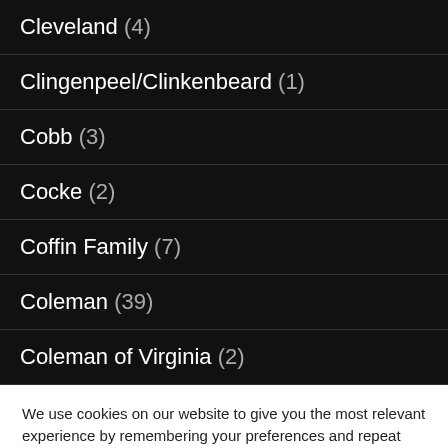Cleveland (4)
Clingenpeel/Clinkenbeard (1)
Cobb (3)
Cocke (2)
Coffin Family (7)
Coleman (39)
Coleman of Virginia (2)
We use cookies on our website to give you the most relevant experience by remembering your preferences and repeat visits. By clicking “Accept”, you consent to the use of ALL the cookies.
Do not sell my personal information.
Cookie settings  ACCEPT